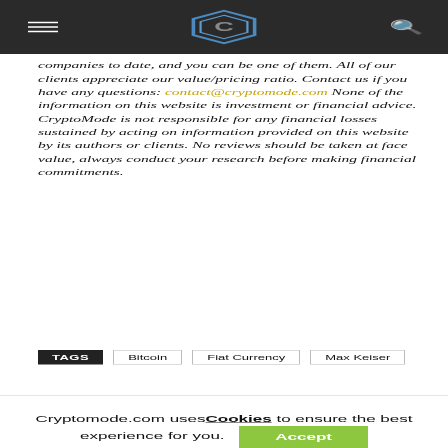CryptoMode logo, hamburger menu, search icon
companies to date, and you can be one of them. All of our clients appreciate our value/pricing ratio. Contact us if you have any questions: contact@cryptomode.com None of the information on this website is investment or financial advice. CryptoMode is not responsible for any financial losses sustained by acting on information provided on this website by its authors or clients. No reviews should be taken at face value, always conduct your research before making financial commitments.
TAGS  Bitcoin  Fiat Currency  Max Keiser
Cryptomode.com uses Cookies to ensure the best experience for you. Accept